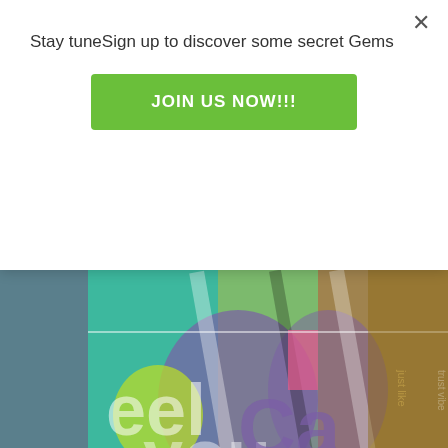Stay tuneSign up to discover some secret Gems
JOIN US NOW!!!
[Figure (illustration): Colorful abstract mixed-media album artwork with overlapping text and shapes in green, purple, yellow, orange, and other vibrant colors.]
Richard Tyler Epperson- A Wandering Mind
The last main thing was the editing and molding of the songs. I tried to really limit any dead space within the song and have them under 4 mins if I could without losing anything. That was a tough one, but I think when listening to the album